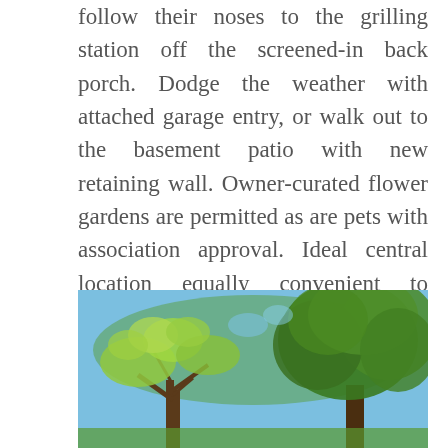follow their noses to the grilling station off the screened-in back porch. Dodge the weather with attached garage entry, or walk out to the basement patio with new retaining wall. Owner-curated flower gardens are permitted as are pets with association approval. Ideal central location equally convenient to downtown Grand Rapids (9 min), Knapp's Corner (5 min) and Centerpointe and Eastbrook Malls (10 min). See for yourself, visit today!
[Figure (photo): Outdoor photo looking up at leafy green trees against a blue sky. Two trees visible — one on the left with lighter green leaves and one on the right with dense green foliage.]